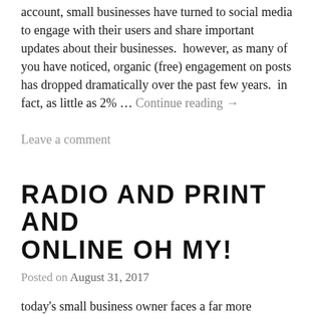account, small businesses have turned to social media to engage with their users and share important updates about their businesses.  however, as many of you have noticed, organic (free) engagement on posts has dropped dramatically over the past few years.  in fact, as little as 2% … Continue reading →
Leave a comment
RADIO AND PRINT AND ONLINE OH MY!
Posted on August 31, 2017
today's small business owner faces a far more complicated world than their predecessors--even as recently as 10 years ago, the options were far more